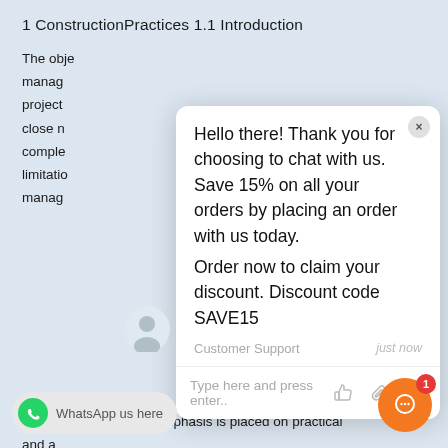1 ConstructionPractices 1.1 Introduction
The objective of this book is to present and discuss the manag project close r comple limitatio manag construction process. Emphasis is placed on practical and a relate t
[Figure (screenshot): Chat popup overlay with message: Hello there! Thank you for choosing to chat with us. Save 15% on all your orders by placing an order with us today. Order now to claim your discount. Discount code SAVE15. Shows Customer Support agent name and 'just now' timestamp. Input bar with 'Type here and press enter..' placeholder and icons.]
Effective management of a project also requires a considerable back- ground of general knowledge istry. The purpose of this cha to familiarize the reader with certain fundamentals of
[Figure (screenshot): WhatsApp us here button at bottom left, and orange chat button with notification badge showing 1 at bottom right.]